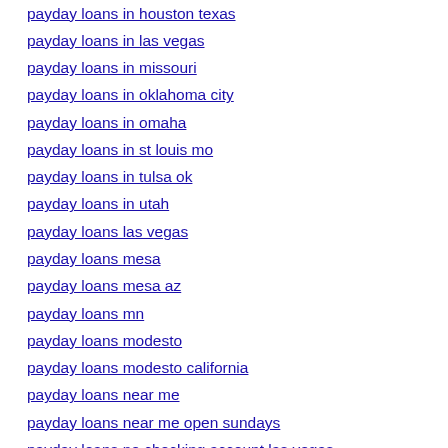payday loans in houston texas
payday loans in las vegas
payday loans in missouri
payday loans in oklahoma city
payday loans in omaha
payday loans in st louis mo
payday loans in tulsa ok
payday loans in utah
payday loans las vegas
payday loans mesa
payday loans mesa az
payday loans mn
payday loans modesto
payday loans modesto california
payday loans near me
payday loans near me open sundays
payday loans no checking account las vegas
payday loans no credit check no employment verification direct lender